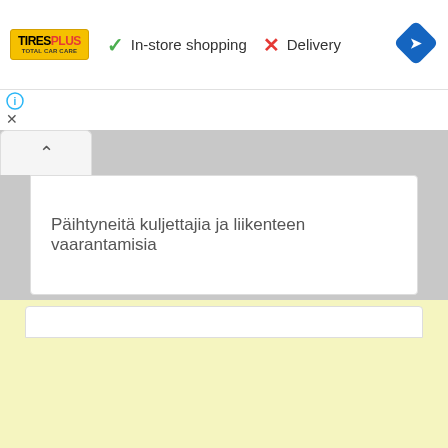[Figure (screenshot): Top bar with TiresPlus logo, green checkmark 'In-store shopping', red X 'Delivery', and blue navigation diamond icon]
In-store shopping
Delivery
[Figure (screenshot): Info icon (i) and close X below the top bar on the left side]
[Figure (screenshot): Accordion header with up chevron (^)]
Päihtyneitä kuljettajia ja liikenteen vaarantamisia
[Figure (screenshot): Yellow/cream colored advertisement panel at bottom of page]